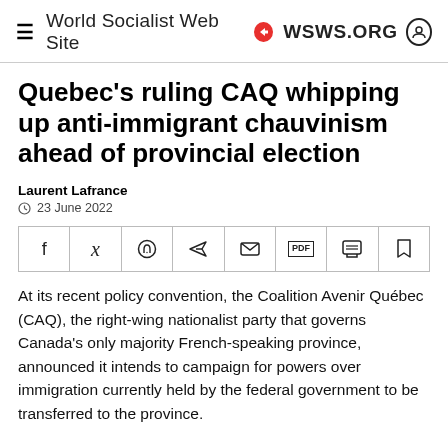≡ World Socialist Web Site ● WSWS.ORG
Quebec's ruling CAQ whipping up anti-immigrant chauvinism ahead of provincial election
Laurent Lafrance
23 June 2022
At its recent policy convention, the Coalition Avenir Québec (CAQ), the right-wing nationalist party that governs Canada's only majority French-speaking province, announced it intends to campaign for powers over immigration currently held by the federal government to be transferred to the province.